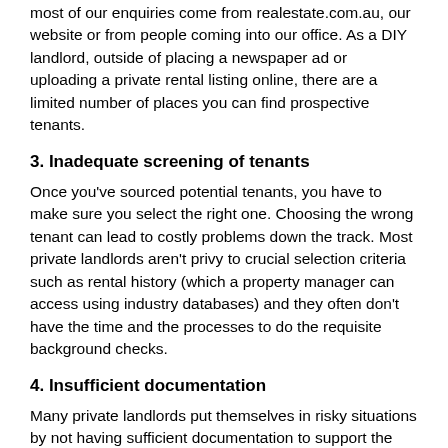most of our enquiries come from realestate.com.au, our website or from people coming into our office. As a DIY landlord, outside of placing a newspaper ad or uploading a private rental listing online, there are a limited number of places you can find prospective tenants.
3. Inadequate screening of tenants
Once you've sourced potential tenants, you have to make sure you select the right one. Choosing the wrong tenant can lead to costly problems down the track. Most private landlords aren't privy to crucial selection criteria such as rental history (which a property manager can access using industry databases) and they often don't have the time and the processes to do the requisite background checks.
4. Insufficient documentation
Many private landlords put themselves in risky situations by not having sufficient documentation to support the tenancy. Despite the fact that an investment property is such a major financial undertaking, many landlords don't even have a legally enforceable contract to protect their investment or they use an incorrect lease document which isn't relevant for their state or territory.